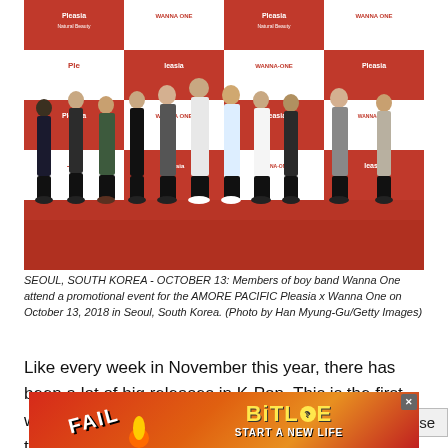[Figure (photo): Members of boy band Wanna One standing in a line at a promotional event for AMORE PACIFIC Pleasia x Wanna One, in front of a red and white step-and-repeat banner. The group stands on a red carpet.]
SEOUL, SOUTH KOREA - OCTOBER 13: Members of boy band Wanna One attend a promotional event for the AMORE PACIFIC Pleasia x Wanna One on October 13, 2018 in Seoul, South Korea. (Photo by Han Myung-Gu/Getty Images)
Like every week in November this year, there has been a lot of big releases in K-Pop. This is the first week that two popular boy-groups put out work in the same week, with Wanna One and NCT 127 putting out their respecti
[Figure (screenshot): Advertisement banner for BitLife mobile game showing 'FAIL' text with cartoon character and flames, with tagline 'START A NEW LIFE'. A close button overlay shows '× Close'.]